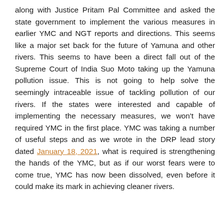along with Justice Pritam Pal Committee and asked the state government to implement the various measures in earlier YMC and NGT reports and directions. This seems like a major set back for the future of Yamuna and other rivers. This seems to have been a direct fall out of the Supreme Court of India Suo Moto taking up the Yamuna pollution issue. This is not going to help solve the seemingly intraceable issue of tackling pollution of our rivers. If the states were interested and capable of implementing the necessary measures, we won't have required YMC in the first place. YMC was taking a number of useful steps and as we wrote in the DRP lead story dated January 18, 2021, what is required is strengthening the hands of the YMC, but as if our worst fears were to come true, YMC has now been dissolved, even before it could make its mark in achieving cleaner rivers.